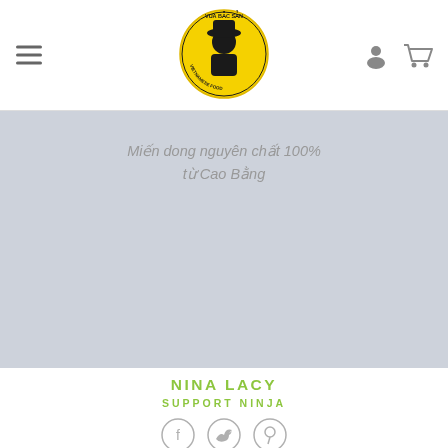[Figure (logo): Round yellow logo with man in hat, text 'VUA BẮC SẢN' and 'VIETNAMESE FOOD']
[Figure (photo): Light blue-gray placeholder image area with italic Vietnamese text overlay]
Miến dong nguyên chất 100% từ Cao Bằng
NINA LACY
SUPPORT NINJA
[Figure (infographic): Three circular social media icons: Facebook, Twitter, Pinterest]
Lorem ipsum dolor sit amet, consectetur adipiscing elit. Proin